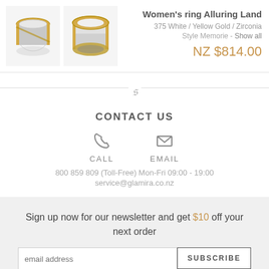[Figure (photo): Two women's rings with white and yellow gold design, shown from different angles]
Women's ring Alluring Land
375 White / Yellow Gold / Zirconia
Style Memorie - Show all
NZ $814.00
CONTACT US
CALL
EMAIL
800 859 809 (Toll-Free) Mon-Fri 09:00 - 19:00
service@glamira.co.nz
Sign up now for our newsletter and get $10 off your next order